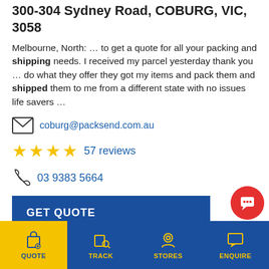300-304 Sydney Road, COBURG, VIC, 3058
Melbourne, North: … to get a quote for all your packing and shipping needs. I received my parcel yesterday thank you … do what they offer they got my items and pack them and shipped them to me from a different state with no issues life savers …
coburg@packsend.com.au
57 reviews
03 9383 5664
GET QUOTE
VIEW DETAILS
QUOTE  TRACK  STORES  ENQUIRE